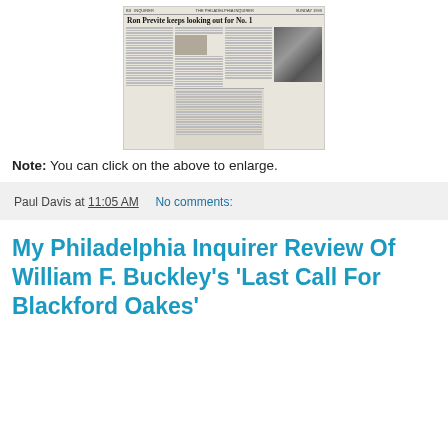[Figure (photo): Scanned newspaper clipping with headline 'Ron Previte keeps looking out for No. 1' and a photo of a man in a suit, with multiple columns of small text]
Note: You can click on the above to enlarge.
Paul Davis at 11:05 AM   No comments:
My Philadelphia Inquirer Review Of William F. Buckley's 'Last Call For Blackford Oakes'